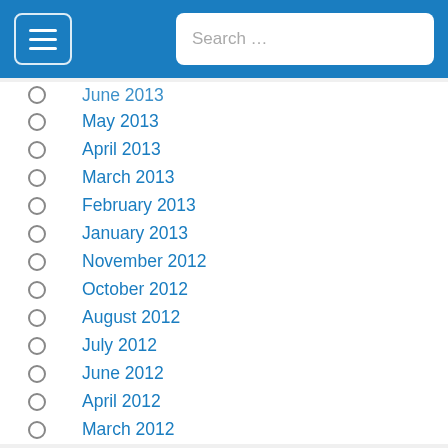Search …
May 2013
April 2013
March 2013
February 2013
January 2013
November 2012
October 2012
August 2012
July 2012
June 2012
April 2012
March 2012
February 2012
December 2011
November 2011
October 2011
September 2011